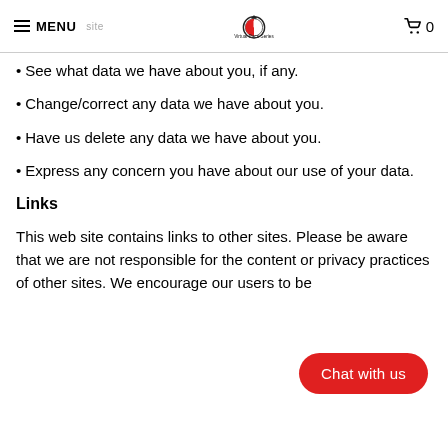MENU | Virtual Pace Series | 0
See what data we have about you, if any.
Change/correct any data we have about you.
Have us delete any data we have about you.
Express any concern you have about our use of your data.
Links
This web site contains links to other sites. Please be aware that we are not responsible for the content or privacy practices of other sites. We encourage our users to be